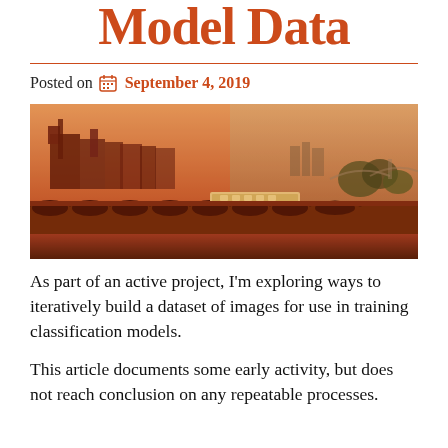Model Data
Posted on  September 4, 2019
[Figure (photo): A train crossing a large stone arch viaduct bridge, with a cityscape and a river in the background, tinted with warm orange/red tones.]
As part of an active project, I'm exploring ways to iteratively build a dataset of images for use in training classification models.
This article documents some early activity, but does not reach conclusion on any repeatable processes.